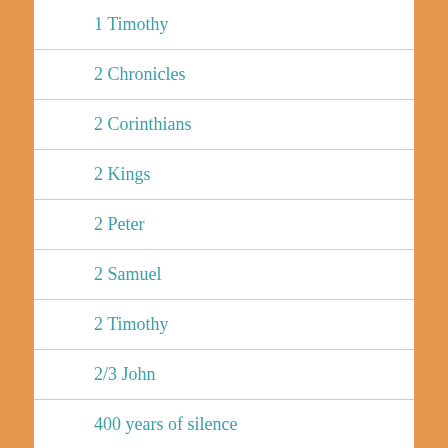1 Timothy
2 Chronicles
2 Corinthians
2 Kings
2 Peter
2 Samuel
2 Timothy
2/3 John
400 years of silence
Acts